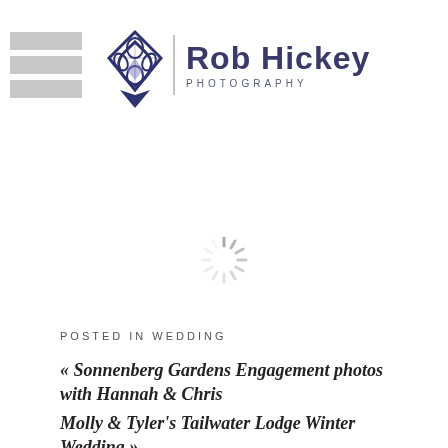[Figure (logo): Rob Hickey Photography logo with decorative knotwork emblem and text]
[Figure (other): Loading spinner / activity indicator]
POSTED IN WEDDING
« Sonnenberg Gardens Engagement photos with Hannah & Chris
Molly & Tyler's Tailwater Lodge Winter Wedding »